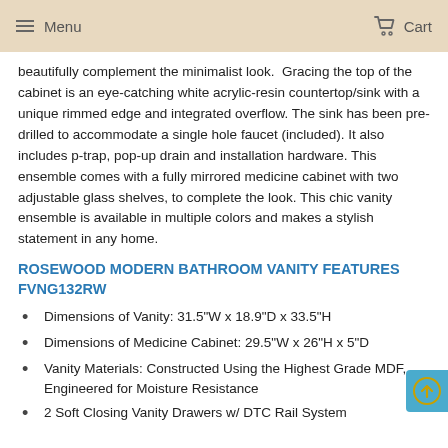Menu  Cart
beautifully complement the minimalist look.  Gracing the top of the cabinet is an eye-catching white acrylic-resin countertop/sink with a unique rimmed edge and integrated overflow. The sink has been pre-drilled to accommodate a single hole faucet (included). It also includes p-trap, pop-up drain and installation hardware. This ensemble comes with a fully mirrored medicine cabinet with two adjustable glass shelves, to complete the look. This chic vanity ensemble is available in multiple colors and makes a stylish statement in any home.
ROSEWOOD MODERN BATHROOM VANITY FEATURES FVNg132RW
Dimensions of Vanity: 31.5"W x 18.9"D x 33.5"H
Dimensions of Medicine Cabinet: 29.5"W x 26"H x 5"D
Vanity Materials: Constructed Using the Highest Grade MDF, Engineered for Moisture Resistance
2 Soft Closing Vanity Drawers w/ DTC Rail System